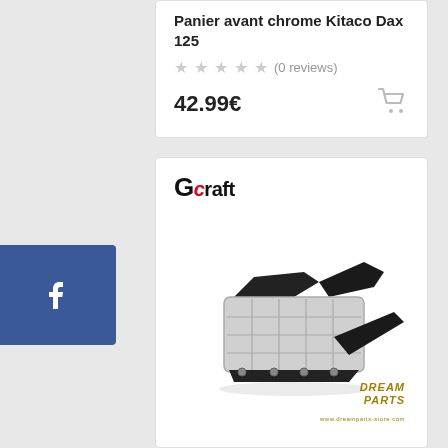Panier avant chrome Kitaco Dax 125
(0 reviews)
42.99€
[Figure (logo): G-craft brand logo with red accent on letter C]
[Figure (photo): Chrome front basket/rack for motorcycle with black mounting brackets, Gcraft brand product]
DREAM PARTS
[Figure (logo): Facebook social media button, blue square with white Facebook 'f' icon]